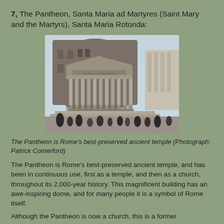7, The Pantheon, Santa Maria ad Martyres (Saint Mary and the Martyrs), Santa Maria Rotonda:
[Figure (photo): Exterior photograph of the Pantheon in Rome showing the classical portico with large Corinthian columns, triangular pediment with inscription, and the rotunda behind, with tourists in the foreground plaza]
The Pantheon is Rome's best-preserved ancient temple (Photograph: Patrick Comerford)
The Pantheon is Rome's best-preserved ancient temple, and has been in continuous use, first as a temple, and then as a church, throughout its 2,000-year history. This magnificent building has an awe-inspiring dome, and for many people it is a symbol of Rome itself.
Although the Pantheon is now a church, this is a former